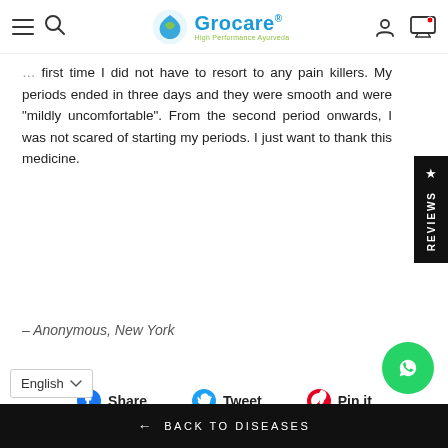Grocare® High Performance Ayurveda
first time I did not have to resort to any pain killers. My periods ended in three days and they were smooth and were "mildly uncomfortable". From the second period onwards, I was not scared of starting my periods. I just want to thank this medicine.
– Anonymous, New York
Share  Tweet  Pin it
← BACK TO DISEASES